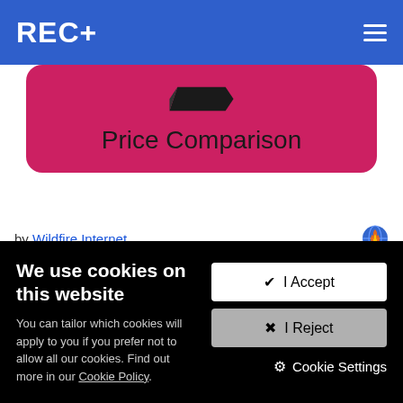REC+
[Figure (illustration): Pink rounded card with a pencil/writing icon and 'Price Comparison' text]
by Wildfire Internet
Spy on competitors' prices to maintain a competitive advantage.
We use cookies on this website
You can tailor which cookies will apply to you if you prefer not to allow all our cookies. Find out more in our Cookie Policy.